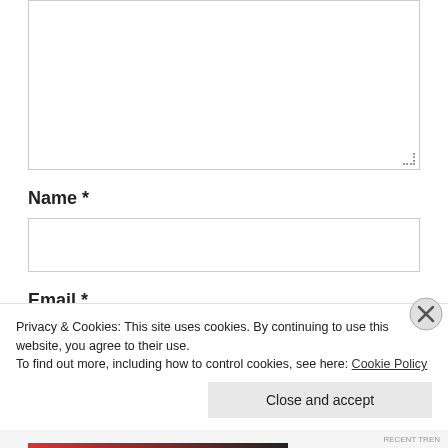[Figure (screenshot): Textarea input box (empty, with resize handle at bottom right)]
Name *
[Figure (screenshot): Name text input box (empty)]
Email *
[Figure (screenshot): Email text input box (partially visible)]
Privacy & Cookies: This site uses cookies. By continuing to use this website, you agree to their use.
To find out more, including how to control cookies, see here: Cookie Policy
Close and accept